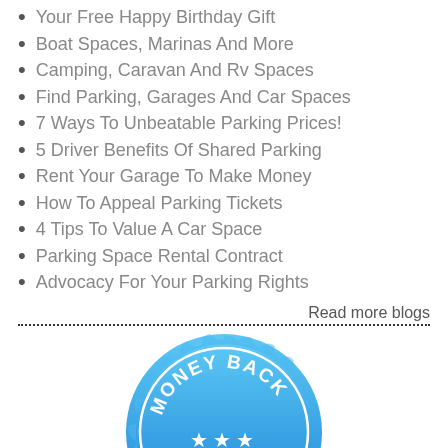Your Free Happy Birthday Gift
Boat Spaces, Marinas And More
Camping, Caravan And Rv Spaces
Find Parking, Garages And Car Spaces
7 Ways To Unbeatable Parking Prices!
5 Driver Benefits Of Shared Parking
Rent Your Garage To Make Money
How To Appeal Parking Tickets
4 Tips To Value A Car Space
Parking Space Rental Contract
Advocacy For Your Parking Rights
Read more blogs
[Figure (illustration): Money Back 30 Days guarantee badge/seal in blue with stars and scalloped edge]